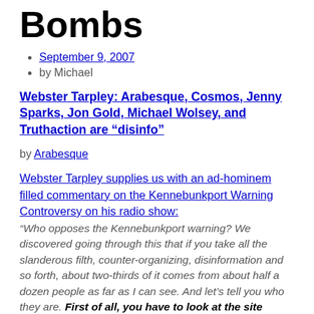Bombs
September 9, 2007
by Michael
Webster Tarpley: Arabesque, Cosmos, Jenny Sparks, Jon Gold, Michael Wolsey, and Truthaction are “disinfo”
by Arabesque
Webster Tarpley supplies us with an ad-hominem filled commentary on the Kennebunkport Warning Controversy on his radio show:
“Who opposes the Kennebunkport warning? We discovered going through this that if you take all the slanderous filth, counter-organizing, disinformation and so forth, about two-thirds of it comes from about half a dozen people as far as I can see. And let’s tell you who they are. First of all, you have to look at the site called truthaction.org. As far as I can see about two-